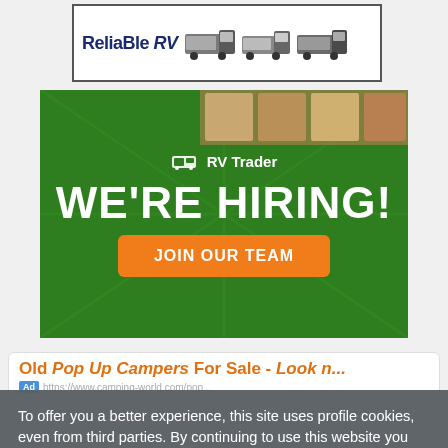[Figure (illustration): Reliable RV banner advertisement with logo and RV vehicle images]
[Figure (illustration): RV Trader 'We're Hiring! Join Our Team' green recruitment banner advertisement]
Old Pop Up Campers For Sale - Look n...
To offer you a better experience, this site uses profile cookies, even from third parties. By continuing to use this website you consent to the use of cookies. For more information or to select your preferences consult our Privacy Policy
> Cookie Settings  ✓ OK  ✕